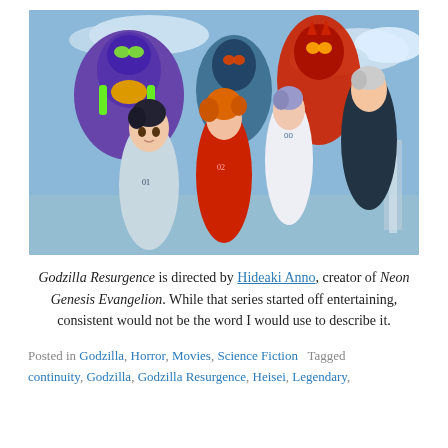[Figure (illustration): Anime promotional image from Neon Genesis Evangelion showing characters Shinji, Asuka, Rei, and Kaworu in pilot suits in front of the Evangelion mechs (Unit-01, Unit-02, Unit-00) with a blue sky background.]
Godzilla Resurgence is directed by Hideaki Anno, creator of Neon Genesis Evangelion. While that series started off entertaining, consistent would not be the word I would use to describe it.
Posted in Godzilla, Horror, Movies, Science Fiction   Tagged continuity, Godzilla, Godzilla Resurgence, Heisei, Legendary,